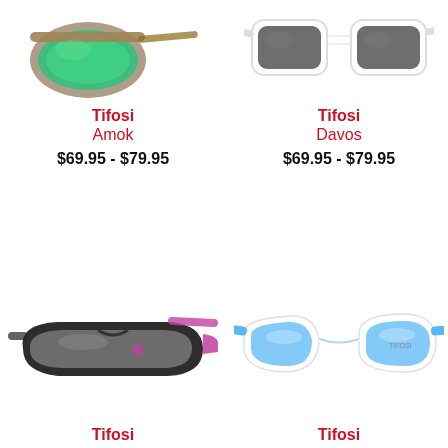[Figure (photo): Tifosi Amok sunglasses with green lenses and camouflage/tan frame, partial top view]
Tifosi
Amok
$69.95 - $79.95
[Figure (photo): Tifosi Davos sunglasses with dark lenses and white frame, partial top view]
Tifosi
Davos
$69.95 - $79.95
[Figure (photo): Tifosi sunglasses with grey lenses, black frame with magenta/pink accents]
Tifosi
[Figure (photo): Tifosi sunglasses with blue tinted lenses, white and blue frame, retro style]
Tifosi